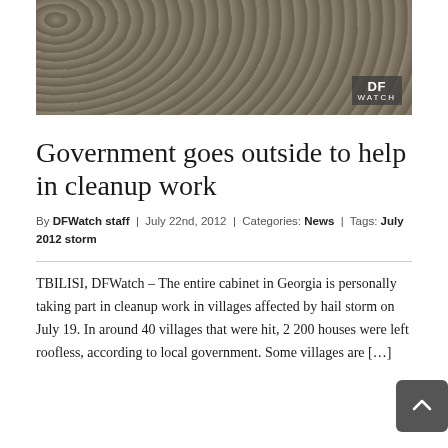[Figure (photo): Stone wall of a rural building with wooden fence posts and windows visible, with DFWatch logo watermark in bottom right corner]
Government goes outside to help in cleanup work
By DFWatch staff | July 22nd, 2012 | Categories: News | Tags: July 2012 storm
TBILISI, DFWatch – The entire cabinet in Georgia is personally taking part in cleanup work in villages affected by hail storm on July 19. In around 40 villages that were hit, 2 200 houses were left roofless, according to local government. Some villages are […]